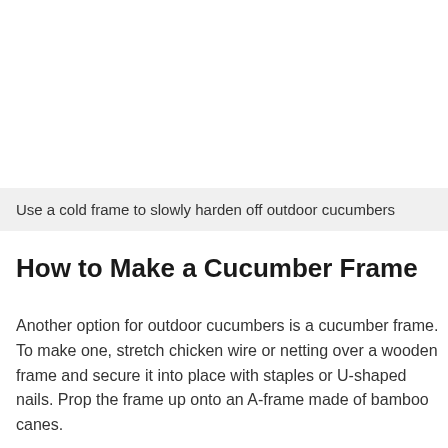Use a cold frame to slowly harden off outdoor cucumbers
How to Make a Cucumber Frame
Another option for outdoor cucumbers is a cucumber frame. To make one, stretch chicken wire or netting over a wooden frame and secure it into place with staples or U-shaped nails. Prop the frame up onto an A-frame made of bamboo canes.